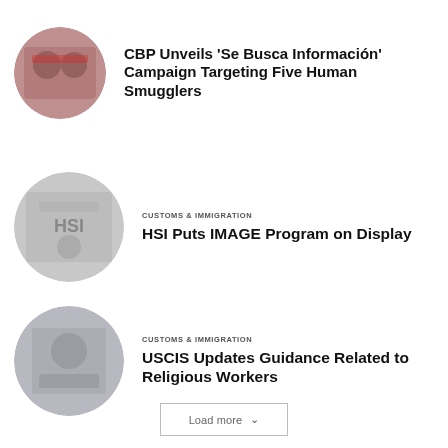[Figure (photo): Circular thumbnail image showing people related to CBP Se Busca Información campaign, reddish/dark tones]
CBP Unveils ‘Se Busca Información’ Campaign Targeting Five Human Smugglers
[Figure (photo): Circular thumbnail image showing HSI agents or personnel, grayscale/dark tones]
CUSTOMS & IMMIGRATION
HSI Puts IMAGE Program on Display
[Figure (photo): Circular thumbnail image showing a person related to USCIS religious workers guidance, dark tones]
CUSTOMS & IMMIGRATION
USCIS Updates Guidance Related to Religious Workers
Load more